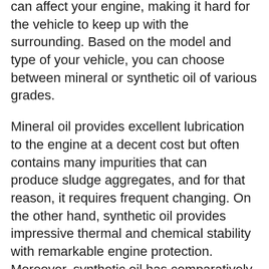can affect your engine, making it hard for the vehicle to keep up with the surrounding. Based on the model and type of your vehicle, you can choose between mineral or synthetic oil of various grades.
Mineral oil provides excellent lubrication to the engine at a decent cost but often contains many impurities that can produce sludge aggregates, and for that reason, it requires frequent changing. On the other hand, synthetic oil provides impressive thermal and chemical stability with remarkable engine protection.  Moreover, synthetic oil has comparatively low solubility with high cost.
Keeping in view all these deciding factors, you must choose the oil you think is a better fit for